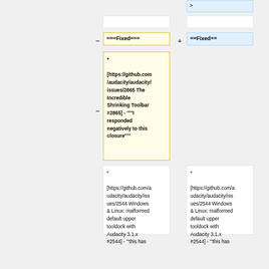>
===Fixed===
==Fixed==
* [https://github.com/audacity/audacity/issues/2865 The Incredible Shrinking Toolbar #2865] - '""I responded negatively to this closure""'
* [https://github.com/audacity/audacity/issues/2544 Windows & Linux: malformed default upper tooldock with Audacity 3.1.x #2544]  -  '"this has
* [https://github.com/audacity/audacity/issues/2544 Windows & Linux: malformed default upper tooldock with Audacity 3.1.x #2544]  -  '"this has